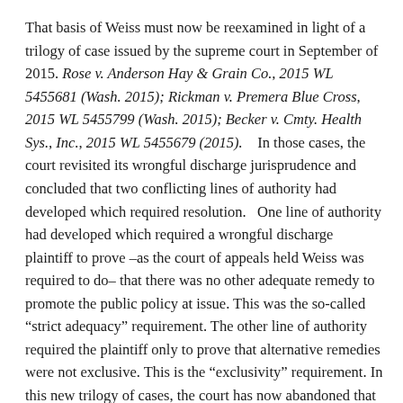That basis of Weiss must now be reexamined in light of a trilogy of case issued by the supreme court in September of 2015. Rose v. Anderson Hay & Grain Co., 2015 WL 5455681 (Wash. 2015); Rickman v. Premera Blue Cross, 2015 WL 5455799 (Wash. 2015); Becker v. Cmty. Health Sys., Inc., 2015 WL 5455679 (2015).    In those cases, the court revisited its wrongful discharge jurisprudence and concluded that two conflicting lines of authority had developed which required resolution.   One line of authority had developed which required a wrongful discharge plaintiff to prove –as the court of appeals held Weiss was required to do– that there was no other adequate remedy to promote the public policy at issue. This was the so-called “strict adequacy” requirement. The other line of authority required the plaintiff only to prove that alternative remedies were not exclusive. This is the “exclusivity” requirement. In this new trilogy of cases, the court has now abandoned that “strict adequacy” requirement and reinstated the “exclusivity” requirement. As the court